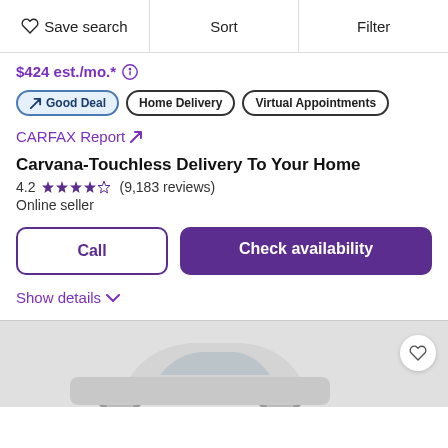Save search | Sort | Filter
$424 est./mo.*
Good Deal | Home Delivery | Virtual Appointments
CARFAX Report ↗
Carvana-Touchless Delivery To Your Home
4.2 ★★★★☆ (9,183 reviews)
Online seller
Call
Check availability
Show details ∨
[Figure (photo): Bottom portion of a car listing page showing the top of a silver/white SUV vehicle against a light gray background]